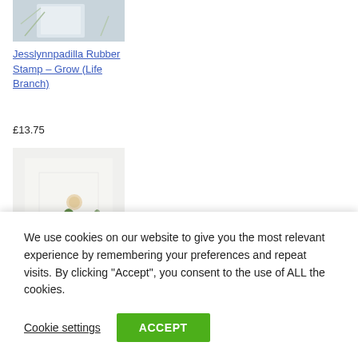[Figure (photo): Top portion of a rubber stamp product image, showing a partial view of a white/light background product photo]
Jesslynnpadilla Rubber Stamp – Grow (Life Branch)
£13.75
[Figure (photo): Product image of pressed clovers and flowers arranged on a white card background, green four-leaf clovers and cream/beige round flowers]
Amore Pressed
We use cookies on our website to give you the most relevant experience by remembering your preferences and repeat visits. By clicking "Accept", you consent to the use of ALL the cookies.
Cookie settings
ACCEPT